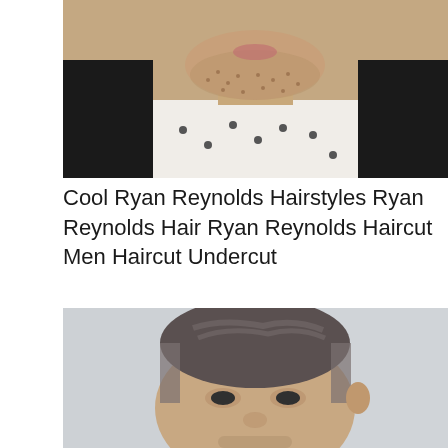[Figure (photo): Close-up photo of a man with blonde stubble beard wearing a dark blazer and white polka-dot shirt, chin and lower face visible]
Cool Ryan Reynolds Hairstyles Ryan Reynolds Hair Ryan Reynolds Haircut Men Haircut Undercut
[Figure (photo): Photo of Ryan Reynolds with a short textured side-parted undercut hairstyle, gray-white background, looking slightly downward]